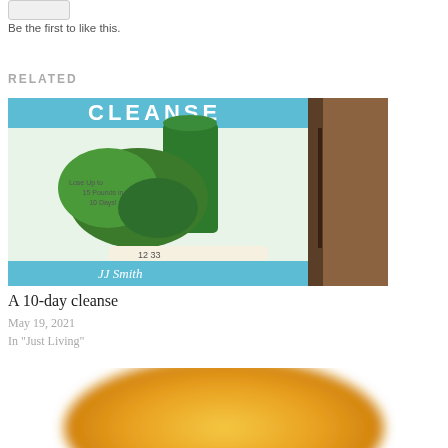Be the first to like this.
RELATED
[Figure (photo): Book cover for a 10-day green smoothie cleanse by JJ Smith, showing a tall glass of green smoothie surrounded by green vegetables including kale and limes, with a measuring tape. Text reads 'Lose Up to 15 Pounds in 10 Days!' and 'JJ Smith'. Dark wooden background visible on right side.]
A 10-day cleanse
May 19, 2021
In "Just Living"
[Figure (photo): Close-up blurred image of what appears to be a golden/yellow food item, partially visible at bottom of page.]